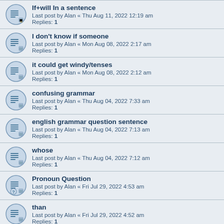If+will In a sentence
Last post by Alan « Thu Aug 11, 2022 12:19 am
Replies: 1
I don't know if someone
Last post by Alan « Mon Aug 08, 2022 2:17 am
Replies: 1
it could get windy/tenses
Last post by Alan « Mon Aug 08, 2022 2:12 am
Replies: 1
confusing grammar
Last post by Alan « Thu Aug 04, 2022 7:33 am
Replies: 1
english grammar question sentence
Last post by Alan « Thu Aug 04, 2022 7:13 am
Replies: 1
whose
Last post by Alan « Thu Aug 04, 2022 7:12 am
Replies: 1
Pronoun Question
Last post by Alan « Fri Jul 29, 2022 4:53 am
Replies: 1
than
Last post by Alan « Fri Jul 29, 2022 4:52 am
Replies: 1
could/might
Last post by Alan « Thu Jul 28, 2022 7:50 am
Replies: 1